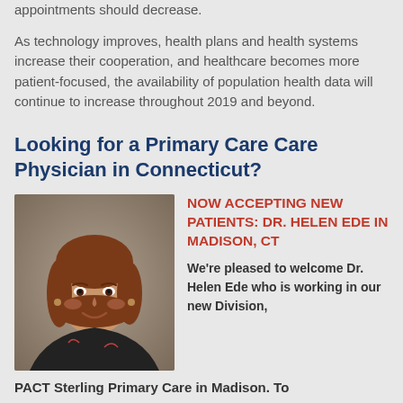appointments should decrease.
As technology improves, health plans and health systems increase their cooperation, and healthcare becomes more patient-focused, the availability of population health data will continue to increase throughout 2019 and beyond.
Looking for a Primary Care Physician in Connecticut?
[Figure (photo): Portrait photo of Dr. Helen Ede, a woman with shoulder-length auburn hair, smiling, wearing a dark jacket, photographed against a neutral background.]
NOW ACCEPTING NEW PATIENTS: DR. HELEN EDE IN MADISON, CT
We're pleased to welcome Dr. Helen Ede who is working in our new Division,
PACT Sterling Primary Care in Madison. To